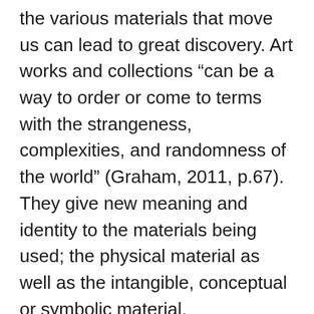the various materials that move us can lead to great discovery. Art works and collections “can be a way to order or come to terms with the strangeness, complexities, and randomness of the world” (Graham, 2011, p.67). They give new meaning and identity to the materials being used; the physical material as well as the intangible, conceptual or symbolic material.
Finally, by drawing parallels between the act of collecting and art making, we might begin to acknowledge and welcome diverse ways of art making and of being an artist. In order to be considered an artist, one does not necessarily need to produce a wealth of works or to